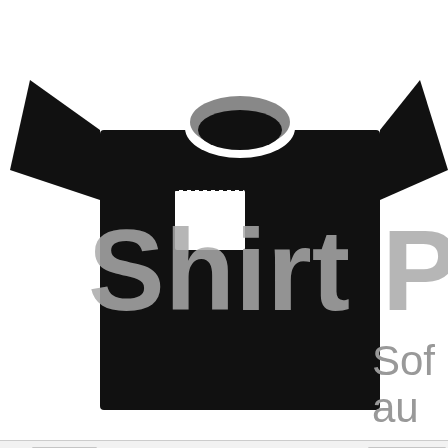[Figure (screenshot): Shirt Pocket software website header with black t-shirt logo and 'Shirt Pocket Sof... au...' branding text in gray]
[Figure (other): Navigation row with Home button on left and Buy Now! button on right]
[Figure (screenshot): Forum interface showing breadcrumb navigation (Shirt Pocket Discussions > SuperDuper! > General) and thread title 'Error when running SuperDuper via shell script', plus login form with User Name and Password fields and Log in button, and forum navigation bar with FAQ, Community, Calendar, Today's Posts, Search]
[Figure (screenshot): Thread toolbar row with Thread Tools, Rate Thread, and Display Modes dropdown buttons on dark blue/slate background]